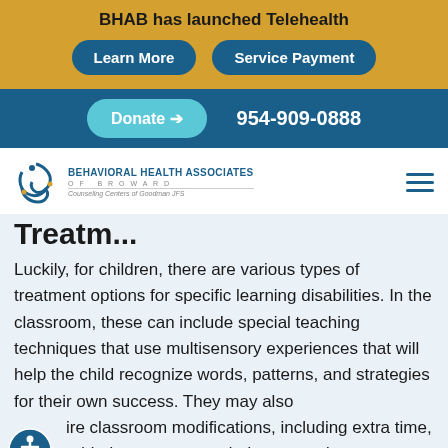BHAB has launched Telehealth
Learn More
Service Payment
Donate ➔   954-909-0888
[Figure (logo): Behavioral Health Associates of Broward logo — swirling figure mark in blue with text BEHAVIORAL HEALTH ASSOCIATES OF BROWARD, Counseling Centers of Goodman JFS]
Luckily, for children, there are various types of treatment options for specific learning disabilities. In the classroom, these can include special teaching techniques that use multisensory experiences that will help the child recognize words, patterns, and strategies for their own success. They may also require classroom modifications, including extra time, added support, recorded tests, and more.